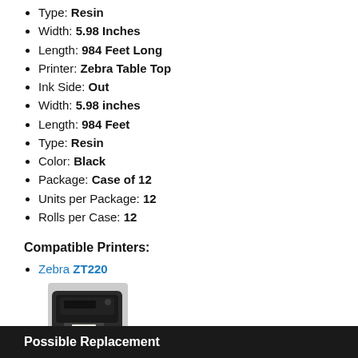Type: Resin
Width: 5.98 Inches
Length: 984 Feet Long
Printer: Zebra Table Top
Ink Side: Out
Width: 5.98 inches
Length: 984 Feet
Type: Resin
Color: Black
Package: Case of 12
Units per Package: 12
Rolls per Case: 12
Compatible Printers:
Zebra ZT220
[Figure (photo): Black Zebra ZT220 desktop label printer]
Possible Replacement